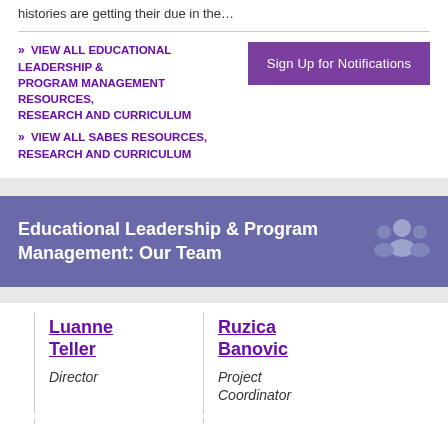histories are getting their due in the…
» VIEW ALL EDUCATIONAL LEADERSHIP & PROGRAM MANAGEMENT RESOURCES, RESEARCH AND CURRICULUM
» VIEW ALL SABES RESOURCES, RESEARCH AND CURRICULUM
Sign Up for Notifications
Educational Leadership & Program Management: Our Team
Luanne Teller
Director
Ruzica Banovic
Project Coordinator